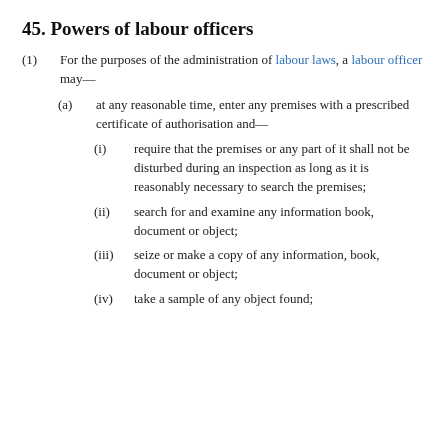45. Powers of labour officers
(1) For the purposes of the administration of labour laws, a labour officer may—
(a) at any reasonable time, enter any premises with a prescribed certificate of authorisation and—
(i) require that the premises or any part of it shall not be disturbed during an inspection as long as it is reasonably necessary to search the premises;
(ii) search for and examine any information book, document or object;
(iii) seize or make a copy of any information, book, document or object;
(iv) take a sample of any object found;